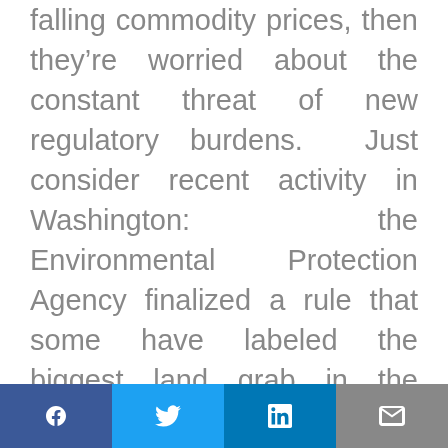falling commodity prices, then they're worried about the constant threat of new regulatory burdens. Just consider recent activity in Washington: the Environmental Protection Agency finalized a rule that some have labeled the biggest land grab in the history of the U.S. causing every ditch across rural America to be regulated as a major waterway. Farmers and ranchers will endure the brunt of this new regulation as the primary stewards of
Facebook Twitter LinkedIn Email